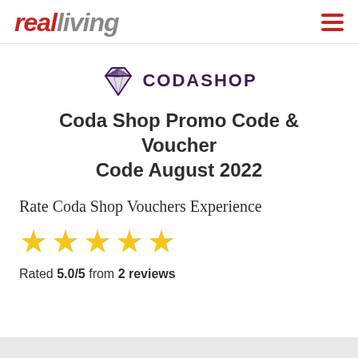realliving
[Figure (logo): Codashop diamond logo with text CODASHOP in dark purple uppercase letters]
Coda Shop Promo Code & Voucher Code August 2022
Rate Coda Shop Vouchers Experience
[Figure (other): Five gold star rating icons]
Rated 5.0/5 from 2 reviews